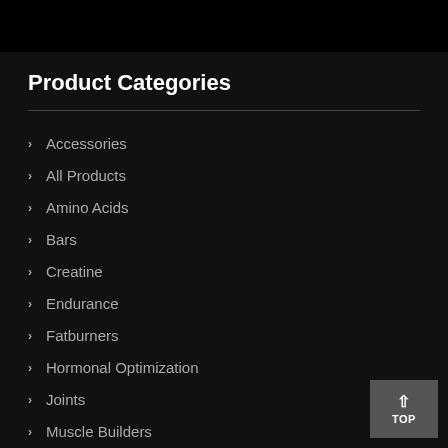Product Categories
Accessories
All Products
Amino Acids
Bars
Creatine
Endurance
Fatburners
Hormonal Optimization
Joints
Muscle Builders
Pre-Workout
Proteins